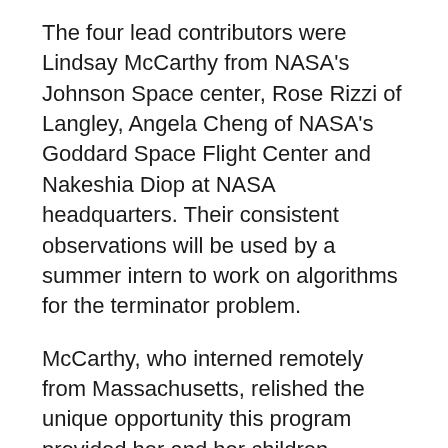The four lead contributors were Lindsay McCarthy from NASA's Johnson Space center, Rose Rizzi of Langley, Angela Cheng of NASA's Goddard Space Flight Center and Nakeshia Diop at NASA headquarters. Their consistent observations will be used by a summer intern to work on algorithms for the terminator problem.
McCarthy, who interned remotely from Massachusetts, relished the unique opportunity this program provided her and her children.
“Participating in the GLOBE Solar Terminator Challenge was an incredible experience,” she said. “The Spring 2021 intern challenge provided a beautiful bridge for my three